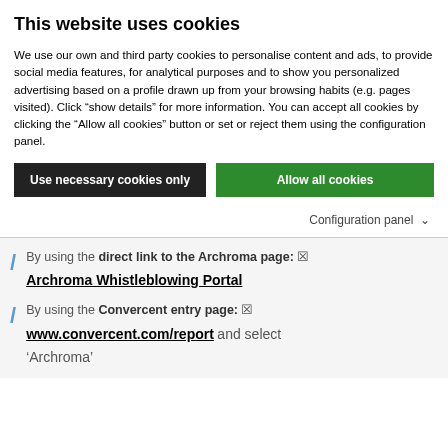This website uses cookies
We use our own and third party cookies to personalise content and ads, to provide social media features, for analytical purposes and to show you personalized advertising based on a profile drawn up from your browsing habits (e.g. pages visited). Click “show details” for more information. You can accept all cookies by clicking the “Allow all cookies” button or set or reject them using the configuration panel.
Use necessary cookies only | Allow all cookies
Configuration panel ⌄
By using the direct link to the Archroma page: ☒ Archroma Whistleblowing Portal
By using the Convercent entry page: ☒ www.convercent.com/report and select ‘Archroma’